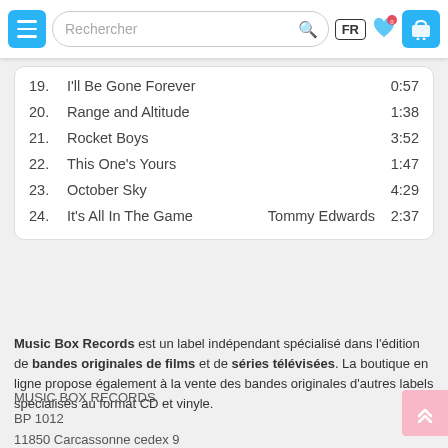FR | Navigation menu | Search | Cart
19. I'll Be Gone Forever   0:57
20. Range and Altitude   1:38
21. Rocket Boys   3:52
22. This One's Yours   1:47
23. October Sky   4:29
24. It's All In The Game   Tommy Edwards   2:37
Music Box Records est un label indépendant spécialisé dans l'édition de bandes originales de films et de séries télévisées. La boutique en ligne propose également à la vente des bandes originales d'autres labels spécialisés au format CD et vinyle.
MUSIC BOX RECORDS
BP 1012
11850 Carcassonne cedex 9
FRANCE